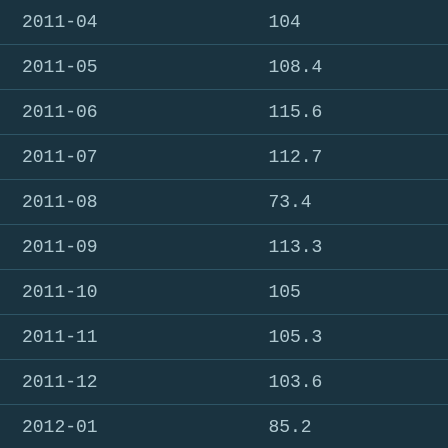| date | value |
| --- | --- |
| 2011-04 | 104 |
| 2011-05 | 108.4 |
| 2011-06 | 115.6 |
| 2011-07 | 112.7 |
| 2011-08 | 73.4 |
| 2011-09 | 113.3 |
| 2011-10 | 105 |
| 2011-11 | 105.3 |
| 2011-12 | 103.6 |
| 2012-01 | 85.2 |
| 2012-02 | 97 |